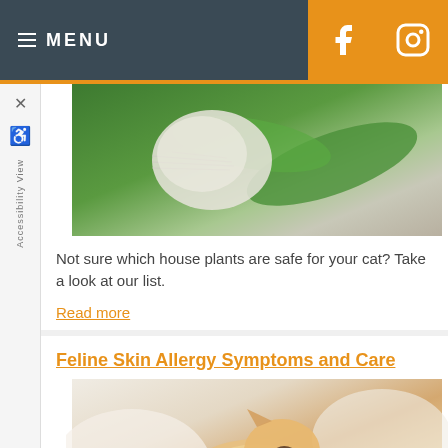MENU
[Figure (photo): White cat among green house plants, close-up of whiskers and fur against large green leaves]
Not sure which house plants are safe for your cat? Take a look at our list.
Read more
Feline Skin Allergy Symptoms and Care
[Figure (photo): Orange and white cat scratching itself, eyes closed, appearing to be enjoying a scratch]